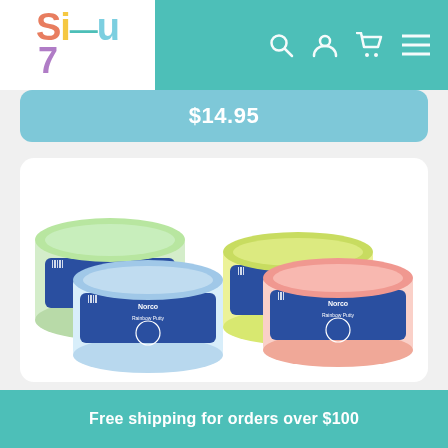Sisu7 — Navigation bar with logo and icons
$14.95
[Figure (photo): Four containers of Norco Rainbow Putty in green, blue/clear, yellow, and red/pink colors arranged in two pairs side by side on a white background.]
Free shipping for orders over $100